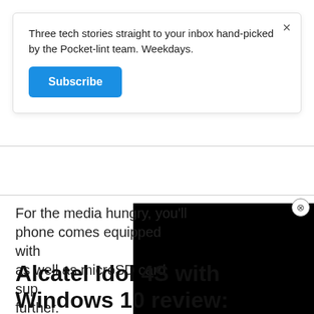Three tech stories straight to your inbox hand-picked by the Pocket-lint team. Weekdays.
Subscribe
For the media hungry, you'll phone comes equipped with as well as microSD card sup further.
[Figure (screenshot): Black video player overlay in the bottom right portion of the page with a close (X) button]
Alcatel Idol 4S with Windows 10 review: Battery life